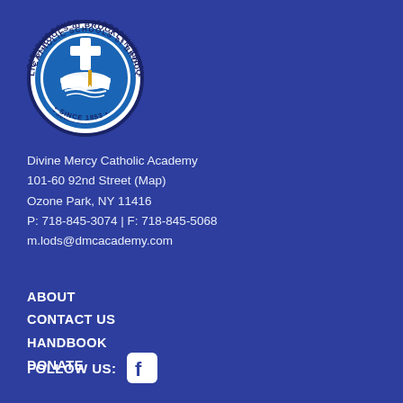[Figure (logo): Catholic Schools of Brooklyn and Queens circular seal logo with cross and open book, blue and white, Since 1853]
Divine Mercy Catholic Academy
101-60 92nd Street (Map)
Ozone Park, NY 11416
P: 718-845-3074 | F: 718-845-5068
m.lods@dmcacademy.com
ABOUT
CONTACT US
HANDBOOK
DONATE
FOLLOW US: